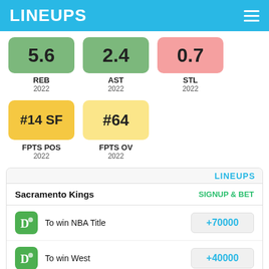LINEUPS
5.6 REB 2022
2.4 AST 2022
0.7 STL 2022
#14 SF FPTS POS 2022
#64 FPTS OV 2022
LINEUPS
Sacramento Kings   SIGNUP & BET
To win NBA Title  +70000
To win West  +40000
MetaBet